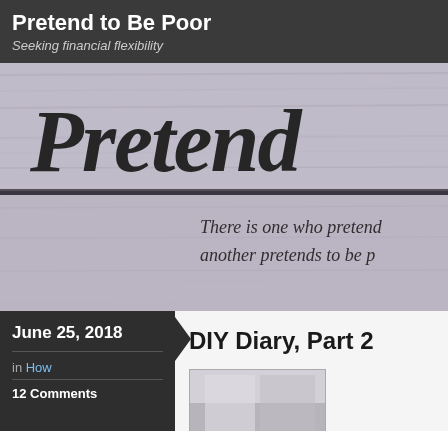Pretend to Be Poor
Seeking financial flexibility
[Figure (photo): Wooden sign with handwritten 'Pretend' text in black brush strokes on gray wood background, with italic text 'There is one who pretends... another pretends to be p...']
June 25, 2018
in How
12 Comments
DIY Diary, Part 2